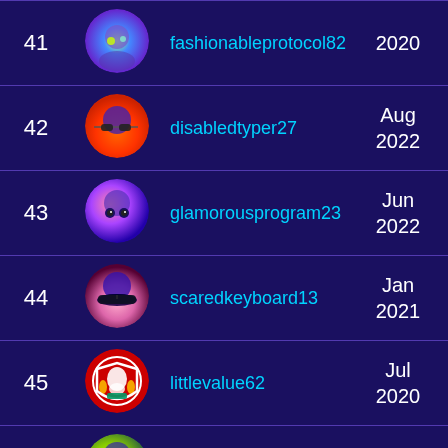| Rank | Avatar | Username | Date |
| --- | --- | --- | --- |
| 41 |  | fashionableprotocol82 | 2020 |
| 42 |  | disabledtyper27 | Aug 2022 |
| 43 |  | glamorousprogram23 | Jun 2022 |
| 44 |  | scaredkeyboard13 | Jan 2021 |
| 45 |  | littlevalue62 | Jul 2020 |
| 46 |  | foolishoperator08 | Oct 2020 |